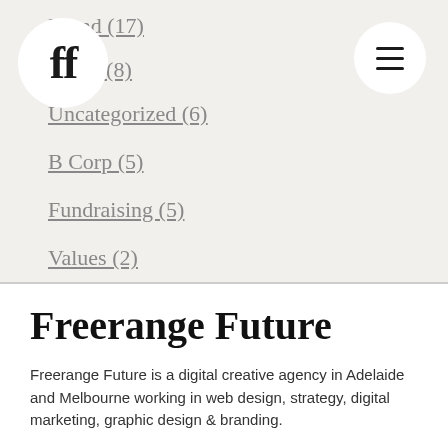[Figure (logo): Freerange Future logo — stylized 'ff' ligature in a white circle]
[Figure (other): Hamburger menu icon (three horizontal lines) in a white circle]
Brand (17)
ibility (8)
Uncategorized (6)
B Corp (5)
Fundraising (5)
Values (2)
Storytelling (1)
Freerange Future
Freerange Future is a digital creative agency in Adelaide and Melbourne working in web design, strategy, digital marketing, graphic design & branding.
Call: 08 8121 3369